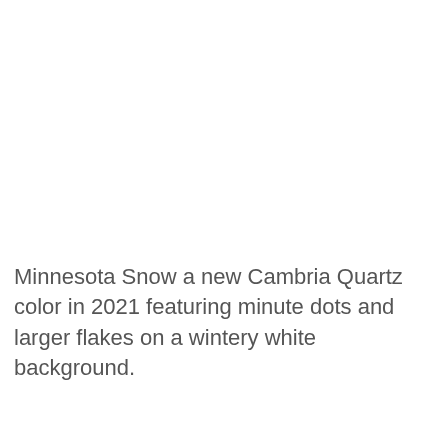Minnesota Snow a new Cambria Quartz color in 2021 featuring minute dots and larger flakes on a wintery white background.